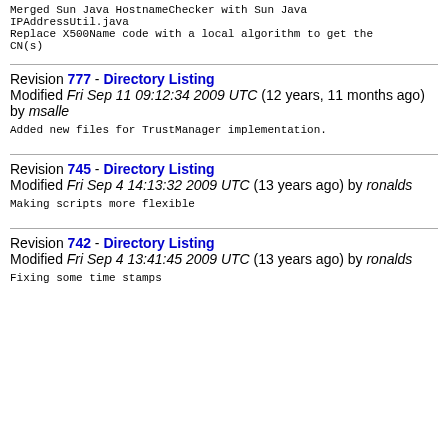Merged Sun Java HostnameChecker with Sun Java IPAddressUtil.java
Replace X500Name code with a local algorithm to get the CN(s)
Revision 777 - Directory Listing
Modified Fri Sep 11 09:12:34 2009 UTC (12 years, 11 months ago) by msalle
Added new files for TrustManager implementation.
Revision 745 - Directory Listing
Modified Fri Sep 4 14:13:32 2009 UTC (13 years ago) by ronalds
Making scripts more flexible
Revision 742 - Directory Listing
Modified Fri Sep 4 13:41:45 2009 UTC (13 years ago) by ronalds
Fixing some time stamps